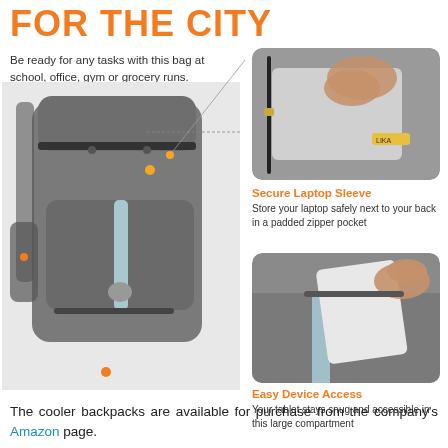FOR THE CITY
Be ready for any tasks with this bag at school, office, gym or grocery runs.
[Figure (photo): Gray cooler backpack shown from the front with main compartment, front pocket with light blue stripe, side mesh pocket, and brand logo]
[Figure (photo): Close-up of the secure laptop sleeve padded zipper pocket of the backpack]
Secure Laptop Sleeve
Store your laptop safely next to your back in a padded zipper pocket
[Figure (photo): Close-up of hand inserting a tablet or laptop into the easy-access device compartment of the backpack]
Easy Device Access
Your tablet stays snug and accessible in this large compartment
The cooler backpacks are available for purchase from the company's Amazon page.